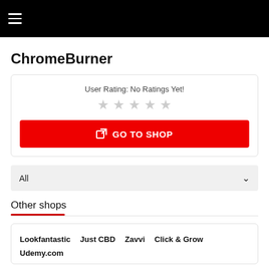☰ (hamburger menu)
ChromeBurner
User Rating: No Ratings Yet!
☆ ☆ ☆ ☆ ☆
↗ GO TO SHOP
All
Other shops
Lookfantastic  Just CBD  Zavvi  Click & Grow  Udemy.com